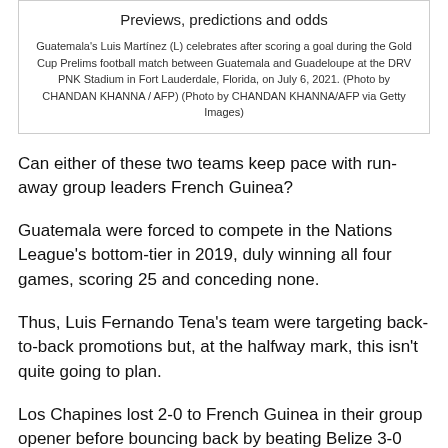Previews, predictions and odds
Guatemala's Luis Martínez (L) celebrates after scoring a goal during the Gold Cup Prelims football match between Guatemala and Guadeloupe at the DRV PNK Stadium in Fort Lauderdale, Florida, on July 6, 2021. (Photo by CHANDAN KHANNA / AFP) (Photo by CHANDAN KHANNA/AFP via Getty Images)
Can either of these two teams keep pace with run-away group leaders French Guinea?
Guatemala were forced to compete in the Nations League's bottom-tier in 2019, duly winning all four games, scoring 25 and conceding none.
Thus, Luis Fernando Tena's team were targeting back-to-back promotions but, at the halfway mark, this isn't quite going to plan.
Los Chapines lost 2-0 to French Guinea in their group opener before bouncing back by beating Belize 3-0 three days later